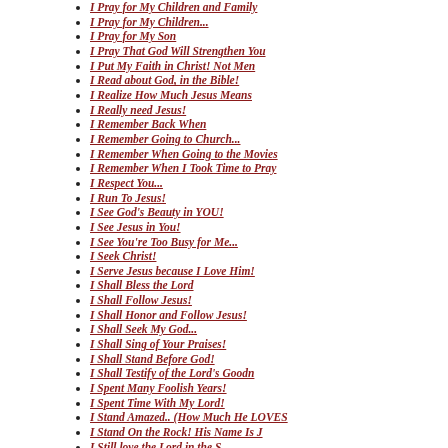I Pray for My Children and Family
I Pray for My Children...
I Pray for My Son
I Pray That God Will Strengthen You
I Put My Faith in Christ! Not Men
I Read about God, in the Bible!
I Realize How Much Jesus Means
I Really need Jesus!
I Remember Back When
I Remember Going to Church...
I Remember When Going to the Movies
I Remember When I Took Time to Pray
I Respect You...
I Run To Jesus!
I See God's Beauty in YOU!
I See Jesus in You!
I See You're Too Busy for Me...
I Seek Christ!
I Serve Jesus because I Love Him!
I Shall Bless the Lord
I Shall Follow Jesus!
I Shall Honor and Follow Jesus!
I Shall Seek My God...
I Shall Sing of Your Praises!
I Shall Stand Before God!
I Shall Testify of the Lord's Goodn
I Spent Many Foolish Years!
I Spent Time With My Lord!
I Stand Amazed.. (How Much He LOVES
I Stand On the Rock! His Name Is J
I Still love the Lord in the S...